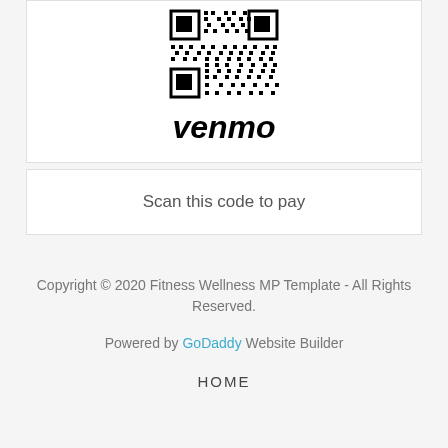[Figure (other): QR code for Venmo payment with Venmo logo below it]
Scan this code to pay
Copyright © 2020 Fitness Wellness MP Template - All Rights Reserved.
Powered by GoDaddy Website Builder
HOME